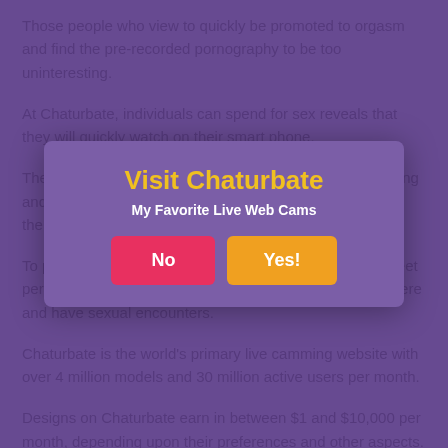Those people who view to quickly be promoted to orgasm and find the pre-recorded pornography to be too uninteresting.
At Chaturbate, individuals can spend for sex reveals that they will quickly watch on their smart phone.
They can do this by going to the Chaturbate site, registering and providing payment details, and after that searching to the channel of the performer they desire.
[Figure (other): Modal dialog with title 'Visit Chaturbate', subtitle 'My Favorite Live Web Cams', and two buttons: 'No' (pink/red) and 'Yes!' (orange)]
To put it simply, Chaturbate m... ewers to meet performers they wouldn ' t have the ability to fulfill elsewhere and have sexual encounters.
Chaturbate is the world's primary live camming website with over 4 million models and 30 million active users per month.
Designs on Chaturbate earn in between $1 and $10,000 per month, depending upon their preferences and other aspects.